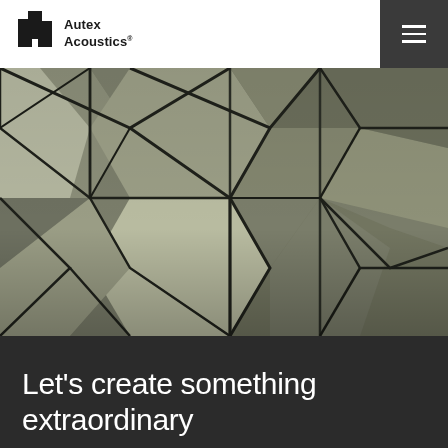Autex Acoustics
[Figure (photo): Close-up photograph of geometric acoustic wall panels in chevron/diamond pattern, in muted olive green and taupe tones with dark grooves between panels]
Let's create something extraordinary